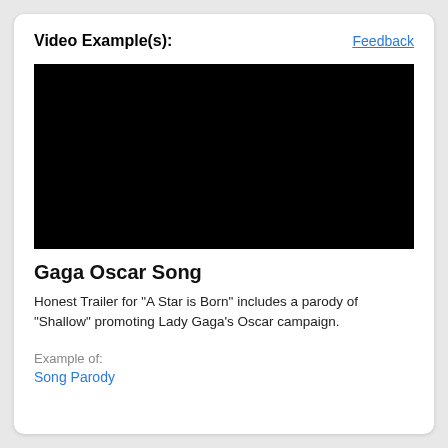Video Example(s):
[Figure (screenshot): Black video player placeholder rectangle]
Gaga Oscar Song
Honest Trailer for "A Star is Born" includes a parody of "Shallow" promoting Lady Gaga's Oscar campaign.
Example of:
Song Parody